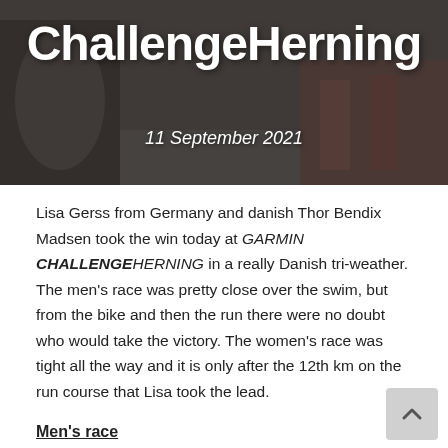[Figure (photo): Hero image with athletes at a triathlon event, dark overlay with the text ChallengeHerning and the date 11 September 2021]
ChallengeHerning
11 September 2021
Lisa Gerss from Germany and danish Thor Bendix Madsen took the win today at GARMIN CHALLENGEHERNING in a really Danish tri-weather. The men's race was pretty close over the swim, but from the bike and then the run there were no doubt who would take the victory. The women's race was tight all the way and it is only after the 12th km on the run course that Lisa took the lead.
Men's race
The fastest swimmer was Jesse Hinrichs: he swam 23:09 minutes over the 1.9 kilometer. Wade followed closely, only 2